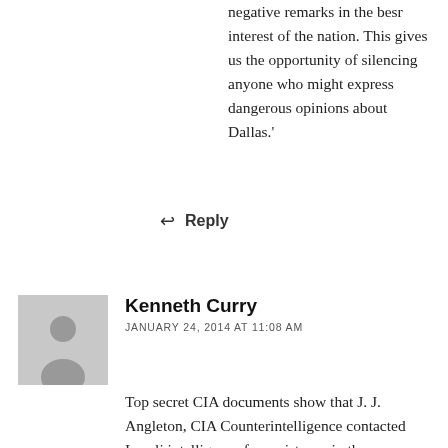negative remarks in the besr interest of the nation. This gives us the opportunity of silencing anyone who might express dangerous opinions about Dallas.'
↩ Reply
Kenneth Curry
JANUARY 24, 2014 AT 11:08 AM
Top secret CIA documents show that J. J. Angleton, CIA Counterintelligence contacted Israeli intelligence for assistance in the assassination of President John F. Kennedy. The man he contacted was Amos Manor, then head of Israeli counterintelligence. Manor sent him Binjamin Bauman his responsibility was to eliminate the Corsican assassins as soon as